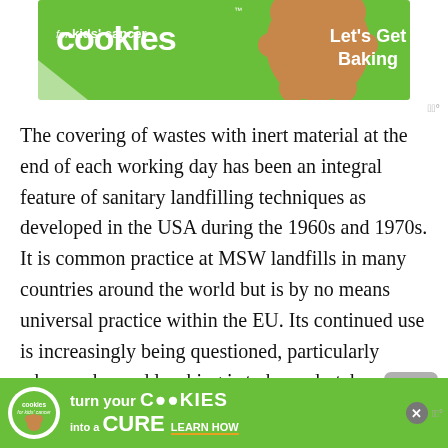[Figure (illustration): Cookies for Kids' Cancer advertisement banner - green background with cookie logo and text 'Let's Get Baking']
The covering of wastes with inert material at the end of each working day has been an integral feature of sanitary landfilling techniques as developed in the USA during the 1960s and 1970s. It is common practice at MSW landfills in many countries around the world but is by no means universal practice within the EU. Its continued use is increasingly being questioned, particularly where enhanced leaching is to be undertaken to accelerate stabilisation, because many materials used as daily cover can form barriers to the even flow of leachate and gas. The primary role of daily cover...
[Figure (illustration): Cookies for Kids' Cancer advertisement banner at bottom - green background with text 'turn your COOKIES into a CURE LEARN HOW']